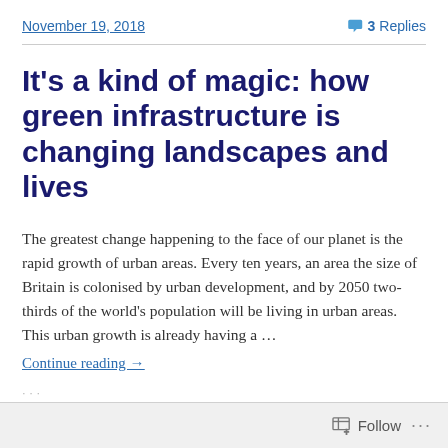November 19, 2018    3 Replies
It's a kind of magic: how green infrastructure is changing landscapes and lives
The greatest change happening to the face of our planet is the rapid growth of urban areas. Every ten years, an area the size of Britain is colonised by urban development, and by 2050 two-thirds of the world's population will be living in urban areas. This urban growth is already having a …
Continue reading →
Follow ...